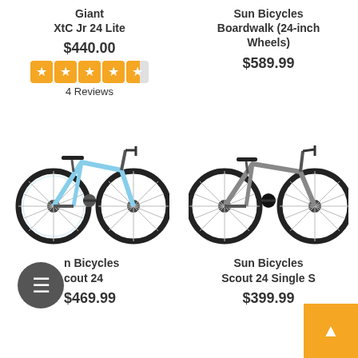Giant XtC Jr 24 Lite
$440.00
4 Reviews
Sun Bicycles Boardwalk (24-inch Wheels)
$589.99
[Figure (photo): Light blue Giant XtC Jr 24 Lite children's bicycle, side view]
[Figure (photo): Gray Sun Bicycles Boardwalk 24-inch wheel children's bicycle, side view]
Sun Bicycles Scout 24
$469.99
Sun Bicycles Scout 24 Single Speed
$399.99